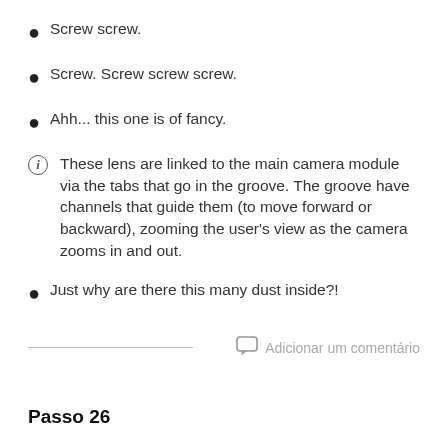Screw screw.
Screw. Screw screw screw.
Ahh... this one is of fancy.
These lens are linked to the main camera module via the tabs that go in the groove. The groove have channels that guide them (to move forward or backward), zooming the user's view as the camera zooms in and out.
Just why are there this many dust inside?!
Passo 26